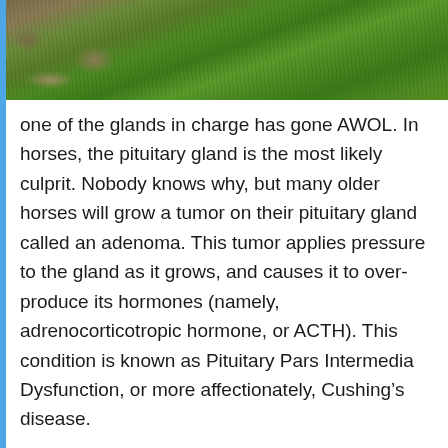[Figure (photo): Outdoor photo showing grass and dirt/soil ground, top portion of the page]
one of the glands in charge has gone AWOL. In horses, the pituitary gland is the most likely culprit. Nobody knows why, but many older horses will grow a tumor on their pituitary gland called an adenoma. This tumor applies pressure to the gland as it grows, and causes it to over-produce its hormones (namely, adrenocorticotropic hormone, or ACTH). This condition is known as Pituitary Pars Intermedia Dysfunction, or more affectionately, Cushing’s disease.
	Cushing’s disease can lead to a whole slew of problems. For one, overproduction of ACTH can confound the whole winter-coat-growing system, so your horse winds up with long, curly